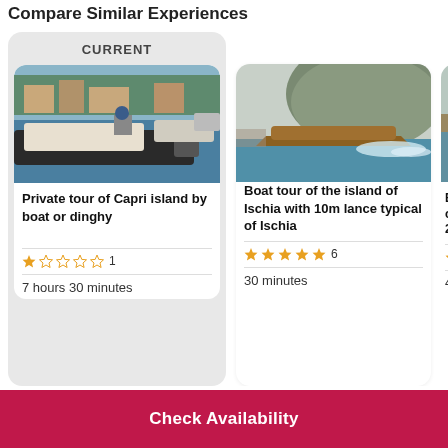Compare Similar Experiences
CURRENT
[Figure (photo): A person on a RIB inflatable boat with outboard motor in a marina, other boats visible in background]
Private tour of Capri island by boat or dinghy
★☆☆☆☆ 1
7 hours 30 minutes
[Figure (photo): A wooden speedboat creating a wake on blue water with a large hill/mountain in the background]
Boat tour of the island of Ischia with 10m lance typical of Ischia
★★★★★ 6
30 minutes
[Figure (photo): Partial view of a boat tour listing, partially cut off]
Boat... of Is... 21
★★
4 ho...
Check Availability